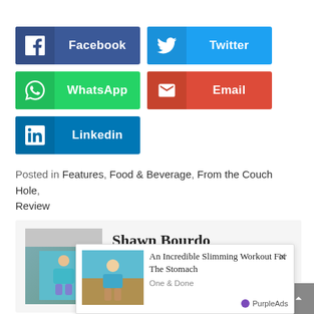[Figure (infographic): Social share buttons: Facebook (dark blue), Twitter (light blue), WhatsApp (green), Email (red), Linkedin (blue)]
Posted in Features, Food & Beverage, From the Couch Hole, Review
[Figure (infographic): Author card showing Shawn Bourdo with profile photo, overlaid by a PurpleAds advertisement for 'An Incredible Slimming Workout For The Stomach' by One & Done, with a close (x) button]
[Figure (infographic): Scroll-to-top button (arrow up) on the right side]